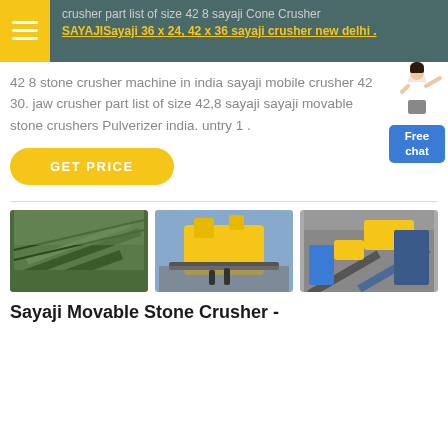crusher part list of size 42 8 sayaji Cone Crusher SAYAJISayaji 36 x 24, 42 x 36 sayaji crusher new delhi
42 8 stone crusher machine in india sayaji mobile crusher 42 30. jaw crusher part list of size 42,8 sayaji sayaji movable stone crushers Pulverizer india. untry 1 .
[Figure (illustration): Customer service representative with Free chat button]
GET PRICE
[Figure (photo): Three images of crusher machinery and equipment]
Sayaji Movable Stone Crusher -